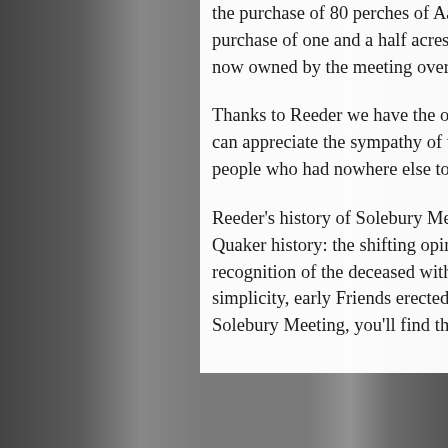the purchase of 80 perches of Aaron Paxson, Jr. The second time in 1877 by the purchase of one and a half acres of Merrick Reeder, making the whole amount of land now owned by the meeting over 5 acres.
Thanks to Reeder we have the original plan for the allotment of the graveyard, and we can appreciate the sympathy of these original Friends who set aside a burying place for people who had nowhere else to turn.
Reeder's history of Solebury Meeting also illuminates another intriguing aspect of Quaker history: the shifting opinions within the Society of Friends with regard to the recognition of the deceased with grave monuments. In keeping with the testimony of simplicity, early Friends erected plain, unmarked headstones or no stones at all. At Solebury Meeting, you'll find these simple brown